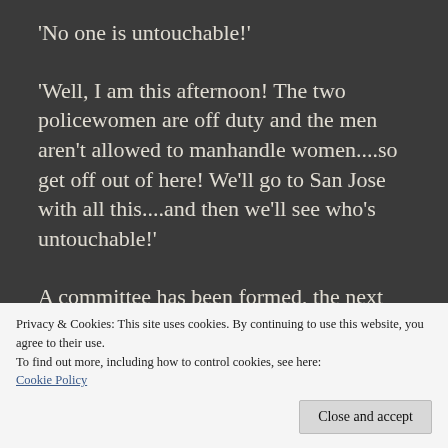'No one is untouchable!'
'Well, I am this afternoon! The two policewomen are off duty and the men aren't allowed to manhandle women....so get off out of here! We'll go to San Jose with all this....and then we'll see who's untouchable!'
A committee has been formed, the next full meeting arranged and a preliminary plan of action has been agreed upon...
Privacy & Cookies: This site uses cookies. By continuing to use this website, you agree to their use.
To find out more, including how to control cookies, see here: Cookie Policy
Close and accept